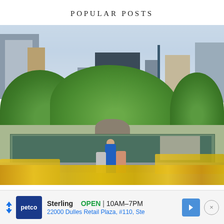POPULAR POSTS
[Figure (photo): Outdoor photo of Central Park in New York City showing a fountain/pool area with groups of children wearing yellow shirts in the foreground, lush green trees in the middle ground, and Manhattan skyscrapers in the background under a cloudy sky.]
Sterling   OPEN  10AM–7PM
22000 Dulles Retail Plaza, #110, Ste